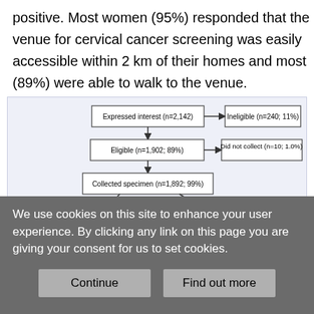positive. Most women (95%) responded that the venue for cervical cancer screening was easily accessible within 2 km of their homes and most (89%) were able to walk to the venue.
[Figure (flowchart): Flowchart showing participant screening flow: Expressed interest (n=2,142) -> Ineligible (n=240; 11%); Expressed interest -> Eligible (n=1,902; 89%) -> Did not collect (n=10; 1.0%); Eligible -> Collected specimen (n=1,892; 99%) -> Undetectable hrHPV mRNA (n=1,499; 79%) and Detectable hrHPV mRNA (n=393; 21%); Undetectable -> Unable to notify (n=615; 40%); Detectable -> Unable to notify (n=43; 11%)]
We use cookies on this site to enhance your user experience. By clicking any link on this page you are giving your consent for us to set cookies.